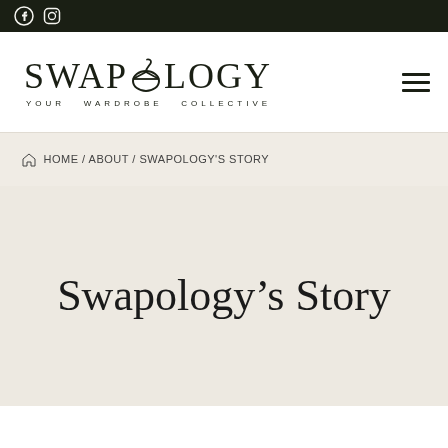Facebook and Instagram social icons in top dark bar
[Figure (logo): Swapology logo with hanger icon replacing the O, tagline: YOUR WARDROBE COLLECTIVE]
HOME / ABOUT / SWAPOLOGY'S STORY
Swapology's Story